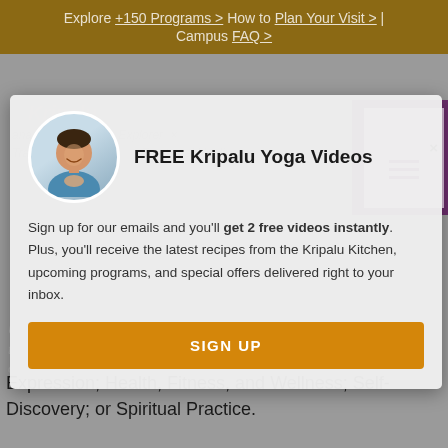Explore +150 Programs > How to Plan Your Visit > | Campus FAQ >
[Figure (screenshot): Website screenshot showing a popup modal for free Kripalu Yoga Videos signup over a search results page]
FREE Kripalu Yoga Videos
Sign up for our emails and you'll get 2 free videos instantly. Plus, you'll receive the latest recipes from the Kripalu Kitchen, upcoming programs, and special offers delivered right to your inbox.
SIGN UP
Expression; Health, Fitness, and Wellness; Self-Discovery; or Spiritual Practice.